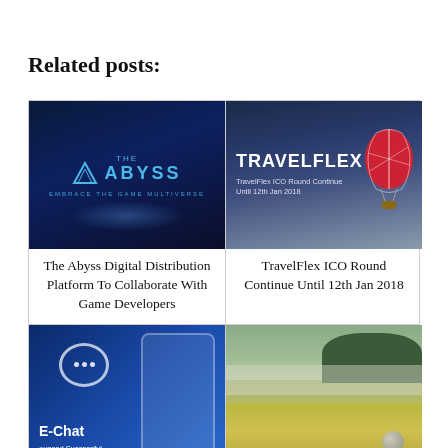Related posts:
[Figure (photo): The Abyss Digital Distribution Platform logo on dark blue background with triangle icon and text 'EMBRACE THE GAME MULTIVERSE']
The Abyss Digital Distribution Platform To Collaborate With Game Developers
[Figure (photo): TravelFlex ICO promotional image with dark blue gradient background, hot air balloon on right, text 'TravelFlex ICO Round Continue Until 12th Jan 2018']
TravelFlex ICO Round Continue Until 12th Jan 2018
[Figure (photo): E-Chat app promotional image with phone mockup on blue background, chat bubble icon, text 'E-Chat Announced Successful Crowdfunding Round']
[Figure (photo): Outdoor field scene with misty landscape, trees in background, golden field in foreground]